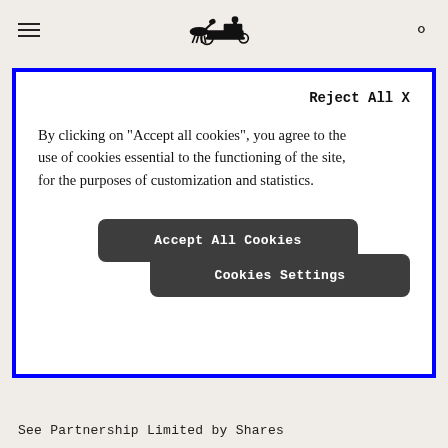Reject All X
By clicking on "Accept all cookies", you agree to the use of cookies essential to the functioning of the site, for the purposes of customization and statistics.
Accept All Cookies
Cookies Settings
See Partnership Limited by Shares